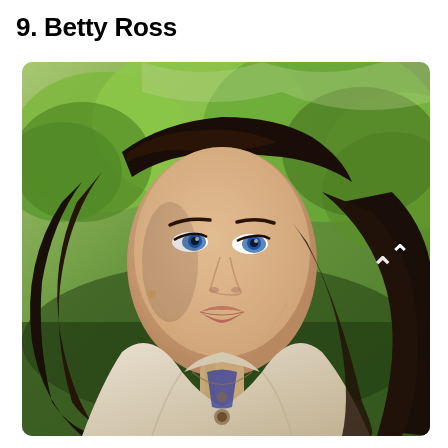9. Betty Ross
[Figure (photo): A dark-haired woman with blue eyes wearing a light beige/cream jacket looks upward with an expression of concern or awe. The background features blurred green trees. A small chevron/caret symbol appears on the right side of the image.]